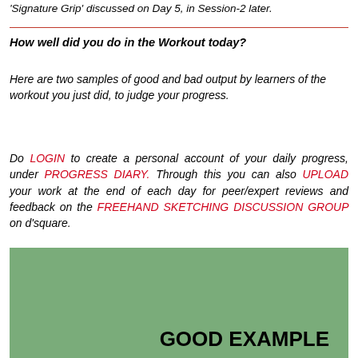'Signature Grip' discussed on Day 5, in Session-2 later.
How well did you do in the Workout today?
Here are two samples of good and bad output by learners of the workout you just did, to judge your progress.
Do LOGIN to create a personal account of your daily progress, under PROGRESS DIARY. Through this you can also UPLOAD your work at the end of each day for peer/expert reviews and feedback on the FREEHAND SKETCHING DISCUSSION GROUP on d'square.
[Figure (illustration): Green background box with 'GOOD EXAMPLE' text in bold at bottom right]